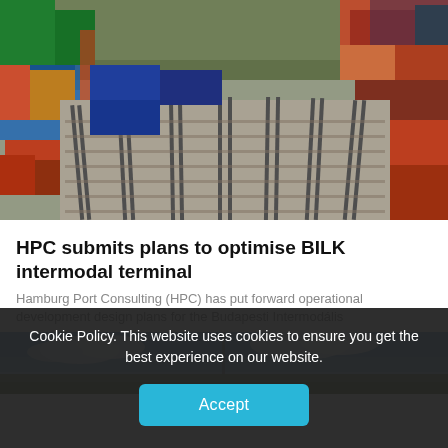[Figure (photo): Aerial view of an intermodal rail terminal with colorful shipping containers stacked on both sides of multiple rail tracks. Blue, red, orange, green containers visible. Tracks run diagonally through the frame.]
HPC submits plans to optimise BILK intermodal terminal
Hamburg Port Consulting (HPC) has put forward operational development design plans for the Budapesti Intermodális
[Figure (photo): Partial view of another image below the article excerpt, showing blue sky with clouds and what appears to be rail infrastructure.]
Cookie Policy. This website uses cookies to ensure you get the best experience on our website.